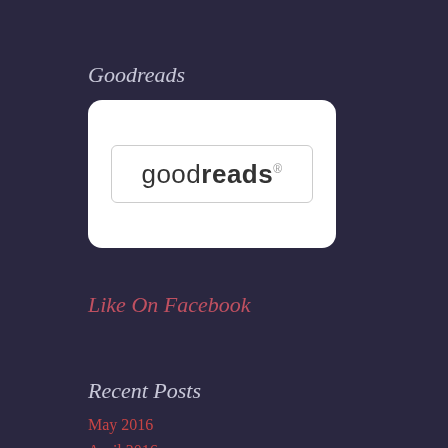Goodreads
[Figure (logo): Goodreads logo inside a white rounded rectangle widget box]
Like On Facebook
Recent Posts
May 2016
April 2016